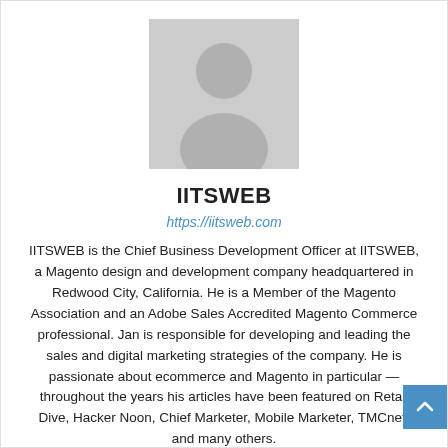[Figure (illustration): Generic user avatar placeholder image — gray silhouette of a person on light gray background]
IITSWEB
https://iitsweb.com
IITSWEB is the Chief Business Development Officer at IITSWEB, a Magento design and development company headquartered in Redwood City, California. He is a Member of the Magento Association and an Adobe Sales Accredited Magento Commerce professional. Jan is responsible for developing and leading the sales and digital marketing strategies of the company. He is passionate about ecommerce and Magento in particular — throughout the years his articles have been featured on Retail Dive, Hacker Noon, Chief Marketer, Mobile Marketer, TMCnet, and many others.